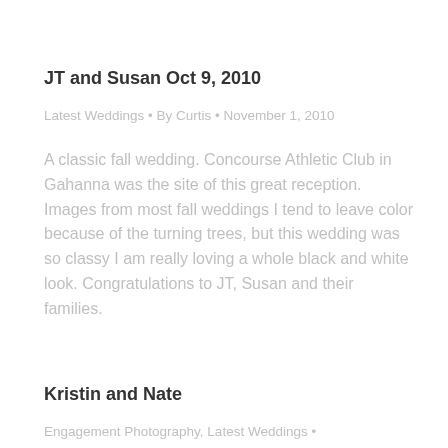JT and Susan Oct 9, 2010
Latest Weddings • By Curtis • November 1, 2010
A classic fall wedding. Concourse Athletic Club in Gahanna was the site of this great reception.  Images from most fall weddings I tend to leave color because of the turning trees, but this wedding was so classy  I am really loving a whole black and white look. Congratulations to JT,  Susan and their families.
Kristin and Nate
Engagement Photography, Latest Weddings •